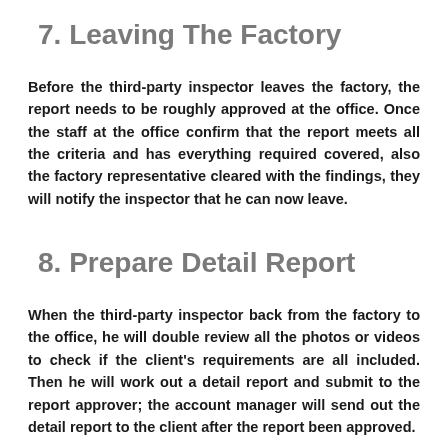7. Leaving The Factory
Before the third-party inspector leaves the factory, the report needs to be roughly approved at the office. Once the staff at the office confirm that the report meets all the criteria and has everything required covered, also the factory representative cleared with the findings, they will notify the inspector that he can now leave.
8. Prepare Detail Report
When the third-party inspector back from the factory to the office, he will double review all the photos or videos to check if the client's requirements are all included. Then he will work out a detail report and submit to the report approver; the account manager will send out the detail report to the client after the report been approved.